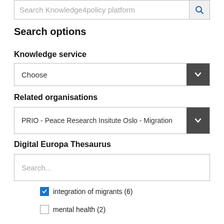Search Knowledge4policy platform
Search options
Knowledge service
Choose
Related organisations
PRIO - Peace Research Insitute Oslo - Migration
Digital Europa Thesaurus
Search...
integration of migrants (6)
mental health (2)